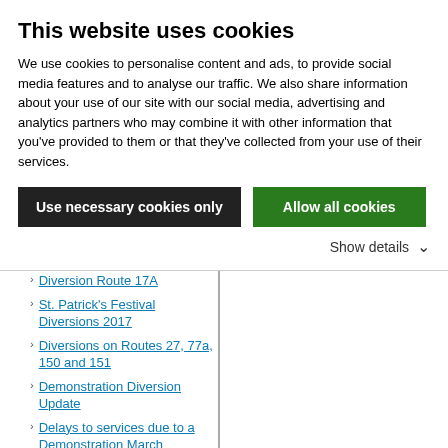This website uses cookies
We use cookies to personalise content and ads, to provide social media features and to analyse our traffic. We also share information about your use of our site with our social media, advertising and analytics partners who may combine it with other information that you've provided to them or that they've collected from your use of their services.
Use necessary cookies only
Allow all cookies
Show details
Route 27 Diversion
Route 13 Diversion
Diversion Route 17A
St. Patrick's Festival Diversions 2017
Diversions on Routes 27, 77a, 150 and 151
Demonstration Diversion Update
Delays to services due to a Demonstration March
Route 79/A Diversion
Route 27 Diversion
Diversions due to Fleet Street Closure
Update on Bus Stops